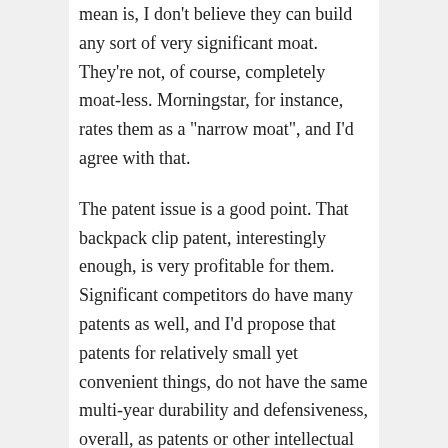mean is, I don't believe they can build any sort of very significant moat. They're not, of course, completely moat-less. Morningstar, for instance, rates them as a "narrow moat", and I'd agree with that.
The patent issue is a good point. That backpack clip patent, interestingly enough, is very profitable for them. Significant competitors do have many patents as well, and I'd propose that patents for relatively small yet convenient things, do not have the same multi-year durability and defensiveness, overall, as patents or other intellectual property for major brands, major pharmaceuticals, etc. There's no regulated monopoly like a utility, no huge switching costs, no